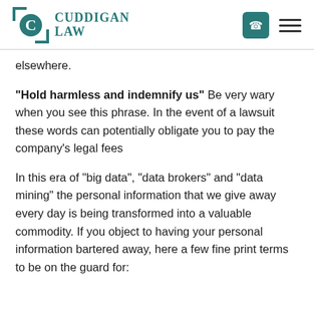Cuddigan Law
elsewhere.
“Hold harmless and indemnify us” Be very wary when you see this phrase. In the event of a lawsuit these words can potentially obligate you to pay the company’s legal fees
In this era of “big data”, “data brokers” and “data mining” the personal information that we give away every day is being transformed into a valuable commodity. If you object to having your personal information bartered away, here a few fine print terms to be on the guard for: